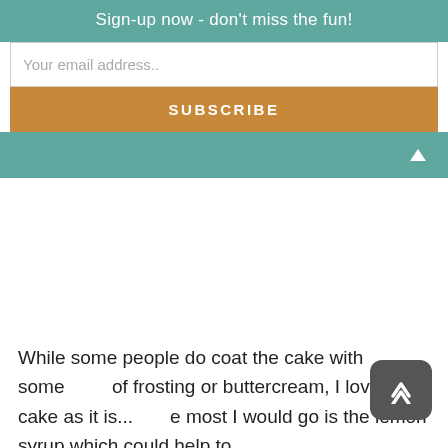Sign-up now - don't miss the fun!
Your email address..
SUBSCRIBE
While some people do coat the cake with some sort of frosting or buttercream, I love the cake as it is... the most I would go is the lemon syrup which could help to